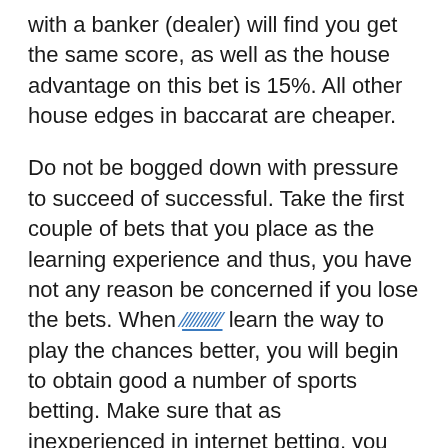with a banker (dealer) will find you get the same score, as well as the house advantage on this bet is 15%. All other house edges in baccarat are cheaper.
Do not be bogged down with pressure to succeed of successful. Take the first couple of bets that you place as the learning experience and thus, you have not any reason be concerned if you lose the bets. When [hyperlink] learn the way to play the chances better, you will begin to obtain good a number of sports betting. Make sure that as inexperienced in internet betting, you set very small bets on the sports. The betting in order to be a fun experience an individual. So do not invite undue agony by losing loads of money at advantageous start of one's ufabet online sports betting knowledge. Therefore, you should only bet amounts you simply feel perform lose.